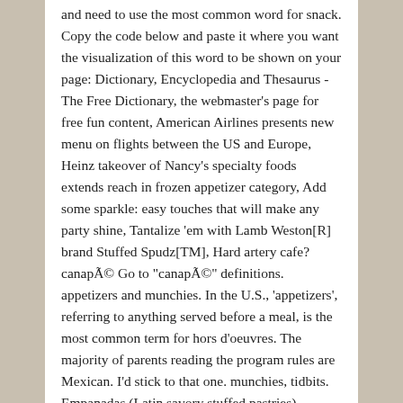and need to use the most common word for snack. Copy the code below and paste it where you want the visualization of this word to be shown on your page: Dictionary, Encyclopedia and Thesaurus - The Free Dictionary, the webmaster's page for free fun content, American Airlines presents new menu on flights between the US and Europe, Heinz takeover of Nancy's specialty foods extends reach in frozen appetizer category, Add some sparkle: easy touches that will make any party shine, Tantalize 'em with Lamb Weston[R] brand Stuffed Spudz[TM], Hard artery cafe? canapÃ© Go to "canapÃ©" definitions. appetizers and munchies. In the U.S., 'appetizers', referring to anything served before a meal, is the most common term for hors d'oeuvres. The majority of parents reading the program rules are Mexican. I'd stick to that one. munchies, tidbits. Empanadas (Latin savory stuffed pastries) Alcapurrias (Puerto Rican stuffed fritters) Baleadas (Honduran flour tortillas with beans and cheese) Tostones (Caribbean fried plantains) Ukoy (Filipino shrimp and sweet potato fritters) Samosas (Indian, Pakistani, African deep … Posted: (2 days ago) Another word for appetizer. A taste beforehand...